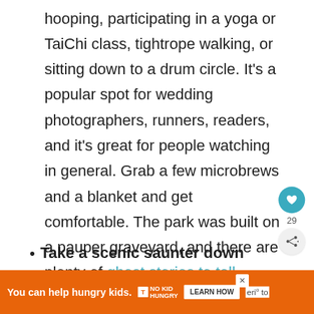hooping, participating in a yoga or TaiChi class, tightrope walking, or sitting down to a drum circle. It's a popular spot for wedding photographers, runners, readers, and it's great for people watching in general. Grab a few microbrews and a blanket and get comfortable. The park was built on a pauper graveyard, and there are plenty of ghost stories to tell.
Take a scenic saunter down Colfax Avenue. As mentioned earlier, it's an
[Figure (other): Heart/like button (teal circle with heart icon) with count 29, and a share button below]
[Figure (other): Ad banner: orange background, 'You can help hungry kids.' with No Kid Hungry logo and LEARN HOW button]